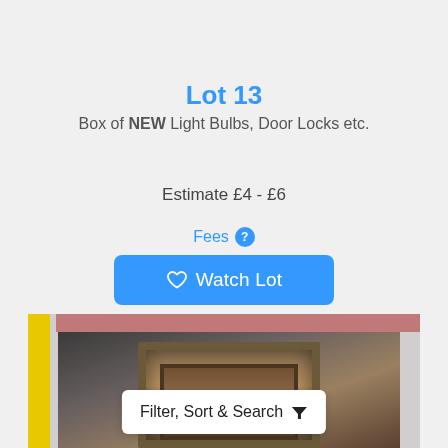Lot 13
Box of NEW Light Bulbs, Door Locks etc.
Estimate £4 - £6
Fees ?
Watch Lot
[Figure (photo): A framed door or panel photographed at auction, with yellow stripe visible on left side.]
Filter, Sort & Search